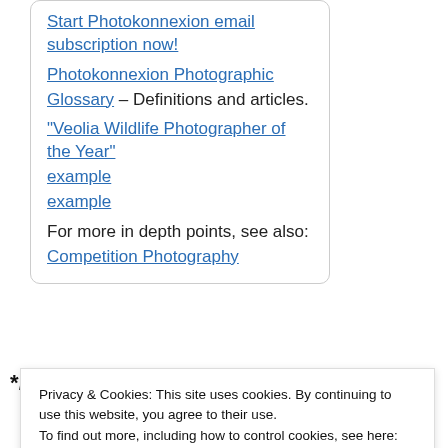Start Photokonnexion email subscription now!
Photokonnexion Photographic Glossary – Definitions and articles.
“Veolia Wildlife Photographer of the Year”
example
example
For more in depth points, see also: Competition Photography
*By Damon Guy (author and
Privacy & Cookies: This site uses cookies. By continuing to use this website, you agree to their use. To find out more, including how to control cookies, see here: Cookie Policy
Close and accept
and editor of